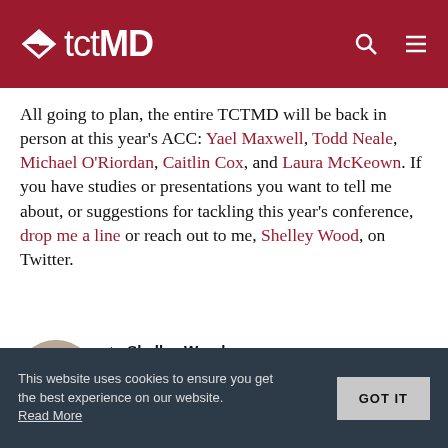TCTMD
All going to plan, the entire TCTMD will be back in person at this year's ACC: Yael Maxwell, Todd Neale, Michael O'Riordan, Caitlin Cox, and Laura McKeown. If you have studies or presentations you want to tell me about, or suggestions for tackling this year's conference, drop me a line or reach out to me, Shelley Wood, on Twitter.
[Figure (photo): Circular headshot photo of Shelley Wood, a woman with short brown hair, smiling]
by Shelley Wood
Shelley Wood is Managing Editor of TCTMD and the Editorial Director at CRF. She did her undergraduate degree at McGill...
Read Full Bio
This website uses cookies to ensure you get the best experience on our website.
Read More
GOT IT